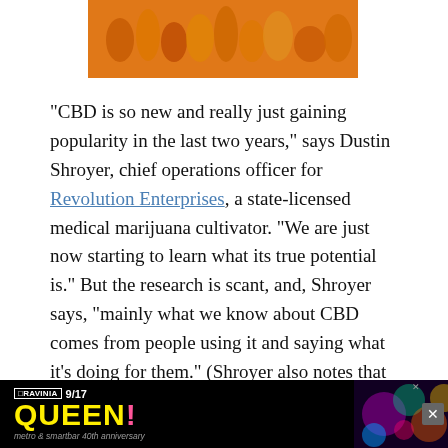[Figure (photo): Top portion of a photo showing a group of people on an orange background, cropped at bottom of image area]
“CBD is so new and really just gaining popularity in the last two years,” says Dustin Shroyer, chief operations officer for Revolution Enterprises, a state-licensed medical marijuana cultivator. “We are just now starting to learn what its true potential is.” But the research is scant, and, Shroyer says, “mainly what we know about CBD comes from people using it and saying what it’s doing for them.” (Shroyer also notes that the CBD products his company produces for the state’s medical marijuana market also contain varying levels of THC, which is thought to have an impact on
[Figure (photo): Advertisement banner for Ravinia Queen concert on 9/17, metro & smartbar 40th anniversary, with colorful psychedelic imagery]